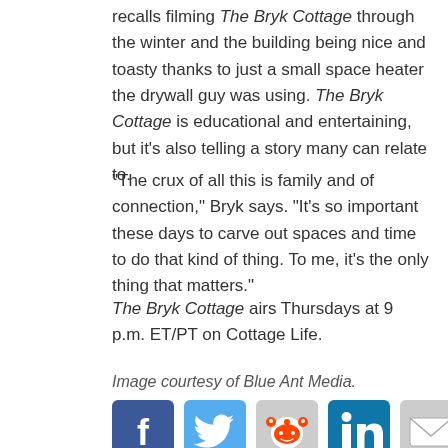recalls filming The Bryk Cottage through the winter and the building being nice and toasty thanks to just a small space heater the drywall guy was using. The Bryk Cottage is educational and entertaining, but it's also telling a story many can relate to.
“The crux of all this is family and of connection,” Bryk says. “It’s so important these days to carve out spaces and time to do that kind of thing. To me, it’s the only thing that matters.”
The Bryk Cottage airs Thursdays at 9 p.m. ET/PT on Cottage Life.
Image courtesy of Blue Ant Media.
[Figure (infographic): Social media sharing icons: Facebook (blue), Twitter (light blue), Reddit (gray with orange alien), LinkedIn (dark teal), Email (gray envelope)]